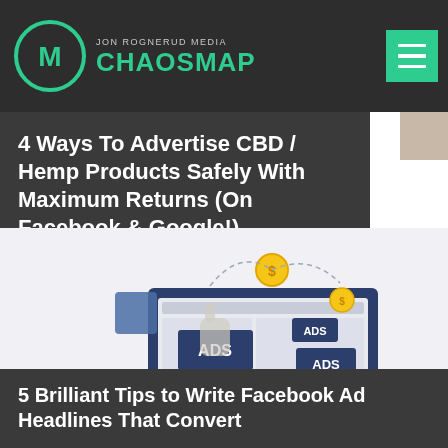JON ROGNERUD MEDIA CHAOSMAP
4 Ways To Advertise CBD / Hemp Products Safely With Maximum Returns (On Facebook & Google!)
[Figure (illustration): Digital advertising illustration showing a laptop/monitor displaying Facebook-style ad layouts with blue 'ADS' banners, surrounded by floating coins, leaves, and a puzzle piece graphic on a light background.]
5 Brilliant Tips to Write Facebook Ad Headlines That Convert